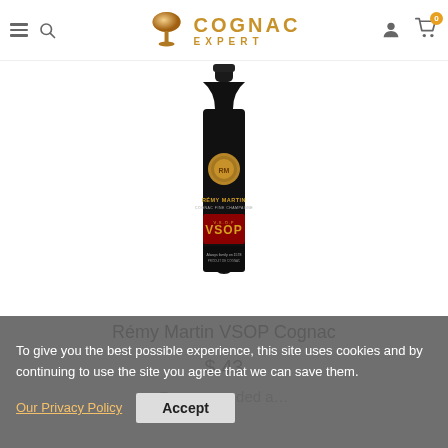Cognac Expert — navigation header with hamburger menu, search, logo, user icon, cart (0)
[Figure (photo): Bottle of Rémy Martin VSOP Cognac Fine Champagne, dark bottle with gold medallion and red VSOP label, on white background]
Rémy Martin VSOP Cognac
$ 43
Recommended a…
To give you the best possible experience, this site uses cookies and by continuing to use the site you agree that we can save them. Our Privacy Policy  Accept